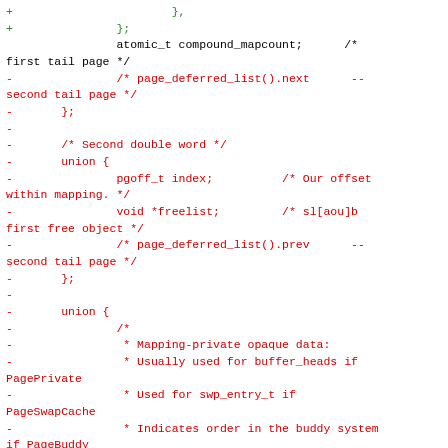Code diff showing C struct members including compound_mapcount, page_deferred_list, union with pgoff_t index, void *freelist, and private field, with USE_SPLIT_PTE_PTLOCKS conditional